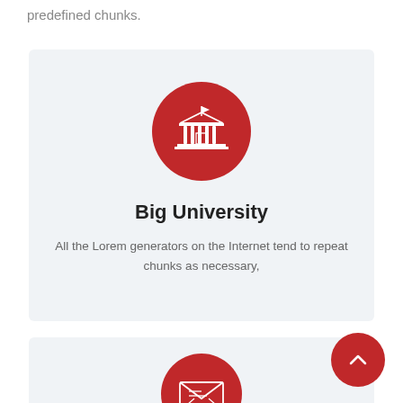predefined chunks.
[Figure (illustration): Card with red circle containing white university/building icon, title 'Big University', and descriptive text]
Big University
All the Lorem generators on the Internet tend to repeat chunks as necessary,
[Figure (illustration): Partially visible card with red circle containing white envelope/mail icon at the bottom of the page, with a red scroll-to-top button in the bottom right]